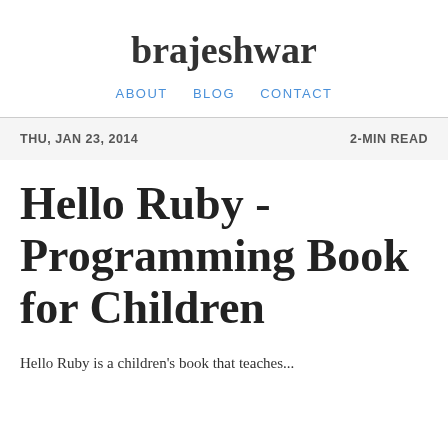brajeshwar
ABOUT   BLOG   CONTACT
THU, JAN 23, 2014   2-MIN READ
Hello Ruby - Programming Book for Children
Hello Ruby is a children's book that teaches...